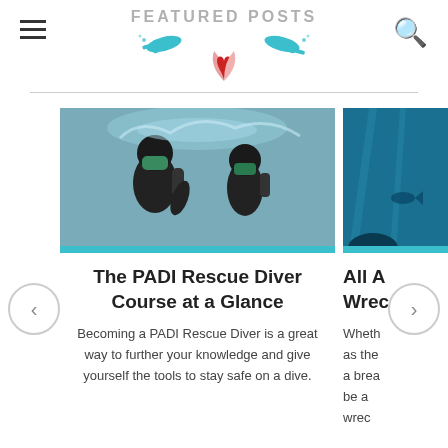FEATURED POSTS
[Figure (logo): Diving website logo with teal diver silhouettes and a pink/red heart shell emblem]
[Figure (photo): Two scuba divers in wetsuits in water, rescue diver scenario]
The PADI Rescue Diver Course at a Glance
Becoming a PADI Rescue Diver is a great way to further your knowledge and give yourself the tools to stay safe on a dive.
[Figure (photo): Partial image showing underwater scene with blue water, partially visible on right side]
All A... Wrec...
Wheth... as the... a brea... be a... wrec...